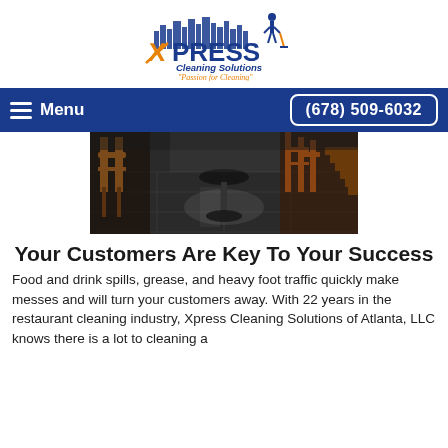[Figure (logo): Xpress Cleaning Solutions logo with cityscape silhouette, cleaner figure, orange X, blue XPRESS text, and tagline 'Passion for Cleaning']
Menu   (678) 509-6032
[Figure (photo): Restaurant interior showing clean tile floor with wooden chairs and tables, dark ambient lighting]
Your Customers Are Key To Your Success
Food and drink spills, grease, and heavy foot traffic quickly make messes and will turn your customers away. With 22 years in the restaurant cleaning industry, Xpress Cleaning Solutions of Atlanta, LLC knows there is a lot to cleaning a